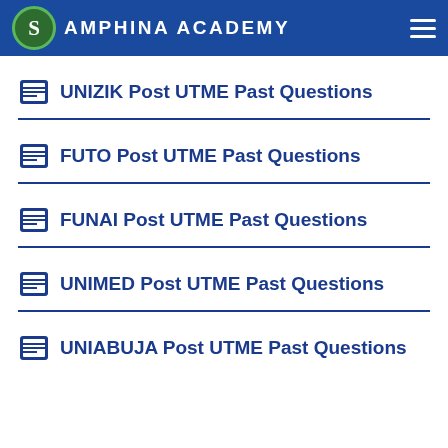Samphina Academy
UNIZIK Post UTME Past Questions
FUTO Post UTME Past Questions
FUNAI Post UTME Past Questions
UNIMED Post UTME Past Questions
UNIABUJA Post UTME Past Questions